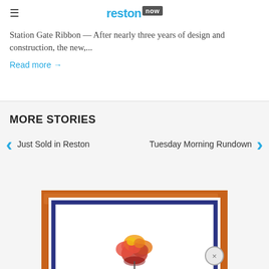reston now
Station Gate Ribbon — After nearly three years of design and construction, the new,...
Read more →
MORE STORIES
Just Sold in Reston
Tuesday Morning Rundown
[Figure (illustration): Colorful abstract artwork with orange outer frame, navy inner frame, and a red-orange flower/tree bouquet illustration in the center with a reflection effect below]